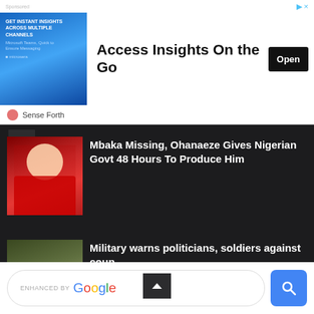[Figure (screenshot): Advertisement banner: image block on left with text 'GET INSTANT INSIGHTS ACROSS MULTIPLE CHANNELS', large headline 'Access Insights On the Go', black Open button on right, footer with 'Sense Forth' label]
[Figure (photo): Partially visible news article thumbnail showing a person in red religious robes]
Mbaka Missing, Ohanaeze Gives Nigerian Govt 48 Hours To Produce Him
[Figure (photo): News article thumbnail showing soldiers in camouflage gear crouching with weapons in a field]
Military warns politicians, soldiers against coup
CREATED BY THEMEXPOSE
[Figure (screenshot): Google search bar with 'ENHANCED BY Google' text and blue search button]